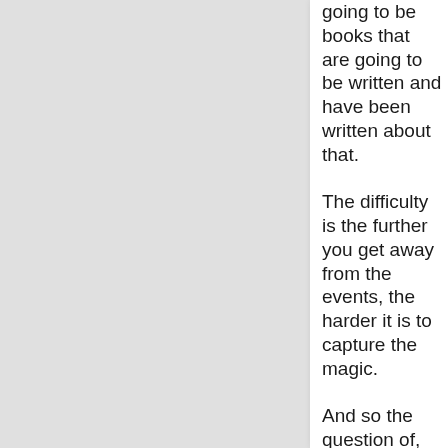going to be books that are going to be written and have been written about that.
The difficulty is the further you get away from the events, the harder it is to capture the magic.
And so the question of, well, what was it that Ted Stevens -- was it just all transactional politics?